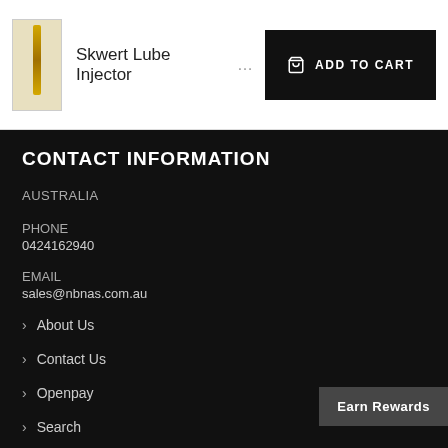Skwert Lube Injector ... ADD TO CART
CONTACT INFORMATION
AUSTRALIA
PHONE
0424162940
EMAIL
sales@nbnas.com.au
About Us
Contact Us
Openpay
Search
Discreet Delivery
Shop Fast, Safe & Discreet
Earn Rewards